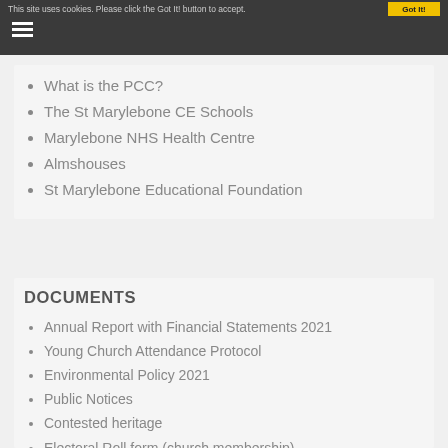This site uses cookies. Please click the Got It! button to accept.
What is the PCC?
The St Marylebone CE Schools
Marylebone NHS Health Centre
Almshouses
St Marylebone Educational Foundation
DOCUMENTS
Annual Report with Financial Statements 2021
Young Church Attendance Protocol
Environmental Policy 2021
Public Notices
Contested heritage
Electoral Roll form (church membership)